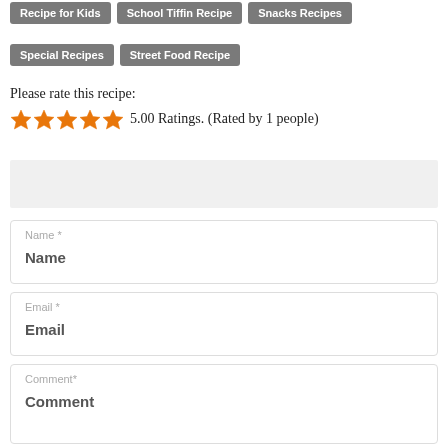Recipe for Kids
School Tiffin Recipe
Snacks Recipes
Special Recipes
Street Food Recipe
Please rate this recipe:
5.00 Ratings. (Rated by 1 people)
[Figure (other): Gray advertisement banner placeholder]
Name *
Name
Email *
Email
Comment*
Comment